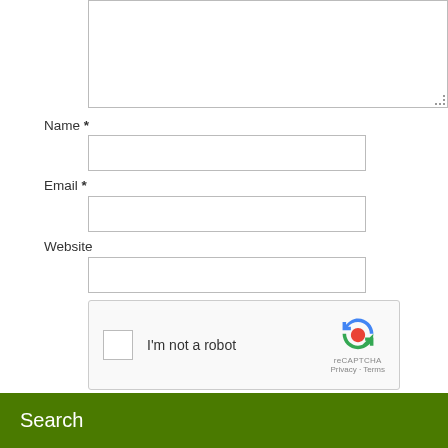[Figure (screenshot): Comment form textarea (empty, resizable)]
Name *
[Figure (screenshot): Name input field (empty text box)]
Email *
[Figure (screenshot): Email input field (empty text box)]
Website
[Figure (screenshot): Website input field (empty text box)]
[Figure (screenshot): reCAPTCHA widget with checkbox and 'I'm not a robot' text]
[Figure (screenshot): Post Comment button (green)]
Search